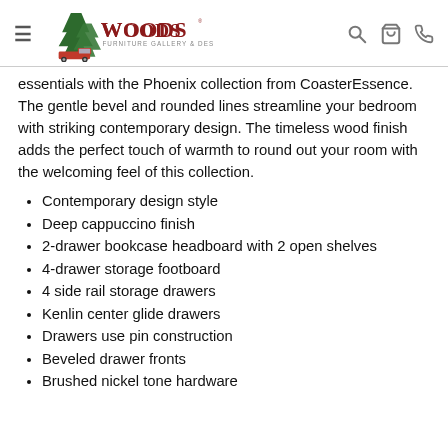Woods Furniture Gallery & Design
essentials with the Phoenix collection from CoasterEssence. The gentle bevel and rounded lines streamline your bedroom with striking contemporary design. The timeless wood finish adds the perfect touch of warmth to round out your room with the welcoming feel of this collection.
Contemporary design style
Deep cappuccino finish
2-drawer bookcase headboard with 2 open shelves
4-drawer storage footboard
4 side rail storage drawers
Kenlin center glide drawers
Drawers use pin construction
Beveled drawer fronts
Brushed nickel tone hardware